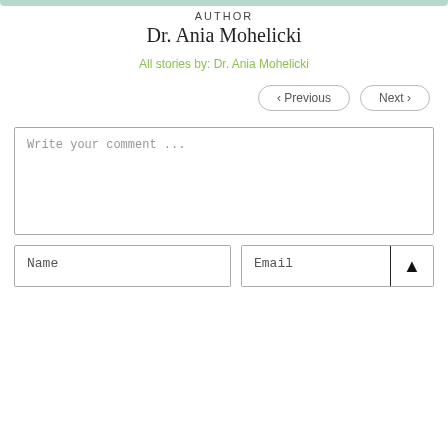AUTHOR
Dr. Ania Mohelicki
All stories by: Dr. Ania Mohelicki
< Previous   Next >
Write your comment ...
Name
Email